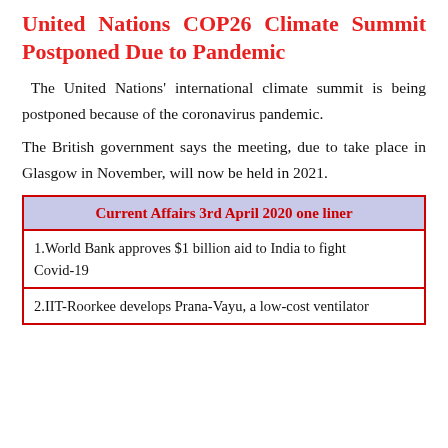United Nations COP26 Climate Summit Postponed Due to Pandemic
The United Nations' international climate summit is being postponed because of the coronavirus pandemic.
The British government says the meeting, due to take place in Glasgow in November, will now be held in 2021.
| Current Affairs 3rd April 2020 one liner |
| --- |
| 1.World Bank approves $1 billion aid to India to fight Covid-19 |
| 2.IIT-Roorkee develops Prana-Vayu, a low-cost ventilator |